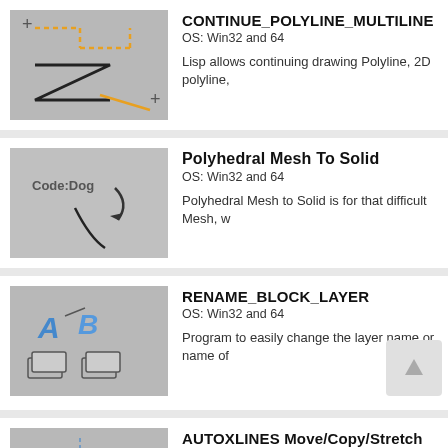[Figure (illustration): Icon showing polyline drawing with orange dashed lines and a Z-shape with a plus sign, on grey background]
CONTINUE_POLYLINE_MULTILINE
OS: Win32 and 64
Lisp allows continuing drawing Polyline, 2D polyline,
[Figure (illustration): Code:Dog logo with a black curved line on grey background]
Polyhedral Mesh To Solid
OS: Win32 and 64
Polyhedral Mesh to Solid is for that difficult Mesh, w
[Figure (illustration): Icon showing block rename with blue A and B letters with arrows, and 3D box shapes below]
RENAME_BLOCK_LAYER
OS: Win32 and 64
Program to easily change the layer name or name of
[Figure (illustration): Icon showing AUTOXLINES with blue dimension lines, red X mark and pencil tool on grey background]
AUTOXLINES Move/Copy/Stretch
OS: Win32 and 64
Moves/copies/stretches object to the calculated inte